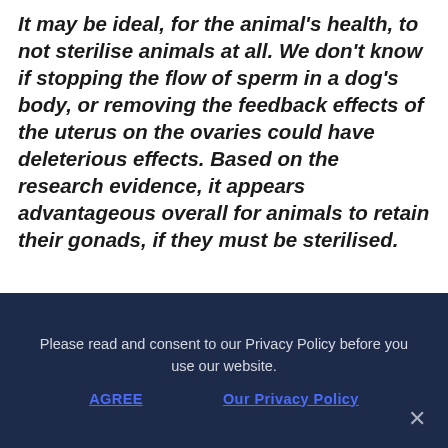It may be ideal, for the animal's health, to not sterilise animals at all. We don't know if stopping the flow of sperm in a dog's body, or removing the feedback effects of the uterus on the ovaries could have deleterious effects. Based on the research evidence, it appears advantageous overall for animals to retain their gonads, if they must be sterilised.
Caveats to Gonad
Please read and consent to our Privacy Policy before you use our website.
AGREE
Our Privacy Policy